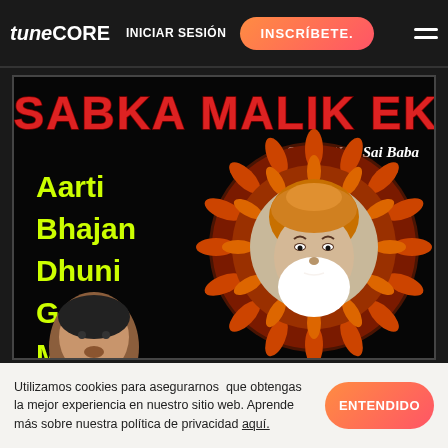TuneCORE  INICIAR SESIÓN  INSCRÍBETE.
[Figure (illustration): Album cover art for 'Sabka Malik Ek - Shirdi Wale Sai Baba'. Black background with large red stylized text 'SABKA MALIK EK' at top, white italic text 'Shirdi Wale Sai Baba', yellow-green list of 'Aarti, Bhajan, Dhuni, Gatha, Mantra' on left, and an illustrated Sai Baba face surrounded by orange mandala/floral halo on right. A person's face appears at bottom left.]
Utilizamos cookies para asegurarnos  que obtengas la mejor experiencia en nuestro sitio web. Aprende más sobre nuestra política de privacidad aquí.
ENTENDIDO